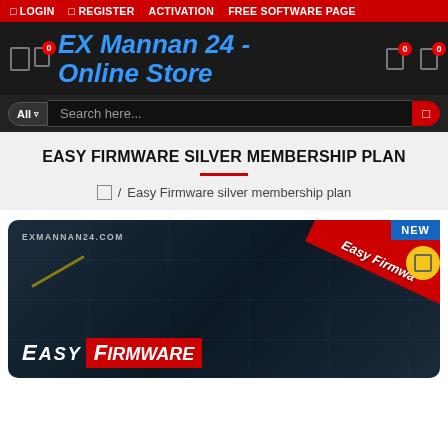LOGIN  REGISTER  ACTIVATION  FREE SOFTWARE PAGE
EX Mannan 24 - Online Store
All  Search here...
EASY FIRMWARE SILVER MEMBERSHIP PLAN
Home / Easy Firmware silver membership plan
[Figure (photo): Easy Firmware Silver Membership Plan product card image with dark blue background, red ribbon banner saying 'Easy Firmware', domain EXMANNAN24.COM, and 'Easy Firmware' text at the bottom with NEW badge and wishlist button.]